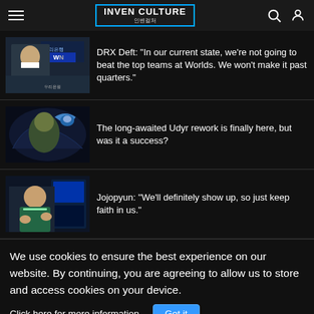INVEN CULTURE 인벤컬처
[Figure (photo): DRX Deft player photo wearing mask with WCN branding in background]
DRX Deft: "In our current state, we're not going to beat the top teams at Worlds. We won't make it past quarters."
[Figure (photo): Udyr champion rework artwork from League of Legends]
The long-awaited Udyr rework is finally here, but was it a success?
[Figure (photo): Jojopyun player photo making hand gestures]
Jojopyun: "We'll definitely show up, so just keep faith in us."
We use cookies to ensure the best experience on our website. By continuing, you are agreeing to allow us to store and access cookies on your device.
Click here for more information.
Got it